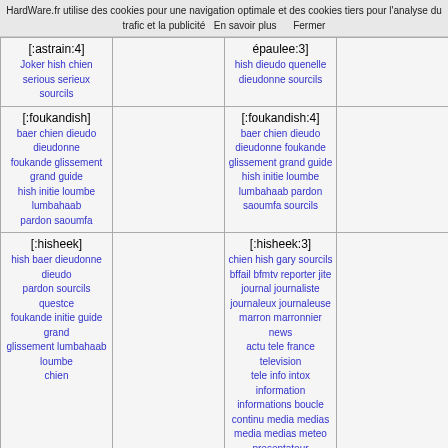HardWare.fr utilise des cookies pour une navigation optimale et des cookies tiers pour l'analyse du trafic et la publicité   En savoir plus      Fermer
| [:astrain:4]
Joker hish chien serious serieux sourcils |  | épaulee:3]
hish dieudo quenelle dieudonne sourcils |  |
| [:foukandish]
baer chien dieudo dieudonne foukande glissement grand guide hish initie loumbe lumbahaab pardon saoumfa |  | [:foukandish:4]
baer chien dieudo dieudonne foukande glissement grand guide hish initie loumbe lumbahaab pardon saoumfa sourcils |  |
| [:hisheek]
hish baer dieudonne dieudo pardon sourcils questce foukande initie guide grand glissement lumbahaab loumbe chien |  | [:hisheek:3]
chien hish gary sourcils bffail bfmtv reporter jite journal journaliste journaleux journaleuse marron marronnier news actu tele france television tele info intox information informations boucle continu media medias media medias meteo presentateur presentatrice itele direct bullshit fail |  |
| [:zoophilhish:1]
hish france fuck yeah chien mongol triso gary sourcils poutrella francais drapeau fier |  | [:zoophilhish:2]
hish hardware forum fuck yeah chien sourcils mongol triso gary poutrella fier drapeau |  |
| [:thatslexi]
Redface Hish Hishface Redish sourcils |  | [:marronnix:5]
hish fond fondu ratatine clebard clebs chien sourcils sulaa melt |  |